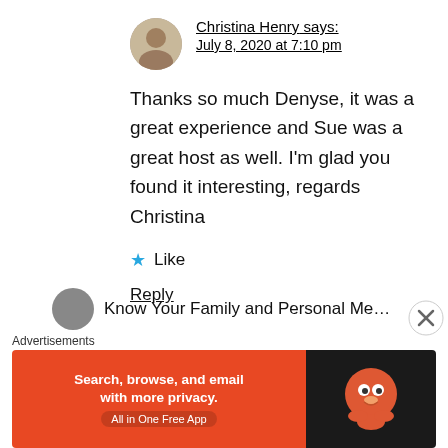Christina Henry says: July 8, 2020 at 7:10 pm
Thanks so much Denyse, it was a great experience and Sue was a great host as well. I'm glad you found it interesting, regards Christina
Like
Reply
Know Your Family and Personal Medical History
Advertisements
[Figure (screenshot): DuckDuckGo advertisement banner: orange left panel with text 'Search, browse, and email with more privacy. All in One Free App' and dark right panel with DuckDuckGo duck logo]